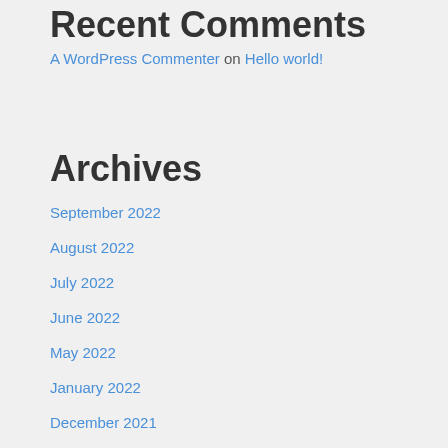Recent Comments
A WordPress Commenter on Hello world!
Archives
September 2022
August 2022
July 2022
June 2022
May 2022
January 2022
December 2021
November 2021
October 2021